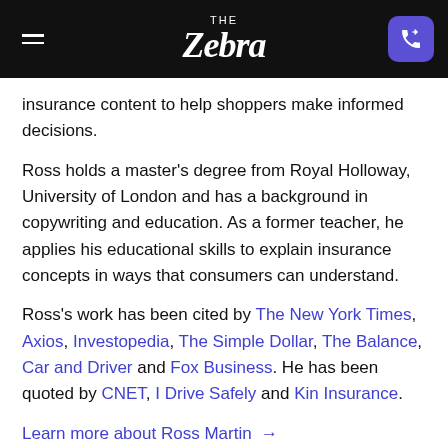THE zebra
insurance content to help shoppers make informed decisions.
Ross holds a master's degree from Royal Holloway, University of London and has a background in copywriting and education. As a former teacher, he applies his educational skills to explain insurance concepts in ways that consumers can understand.
Ross's work has been cited by The New York Times, Axios, Investopedia, The Simple Dollar, The Balance, Car and Driver and Fox Business. He has been quoted by CNET, I Drive Safely and Kin Insurance.
Learn more about Ross Martin →